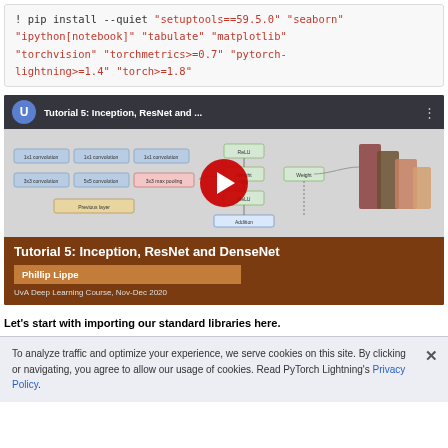! pip install --quiet "setuptools==59.5.0" "seaborn" "ipython[notebook]" "tabulate" "matplotlib" "torchvision" "torchmetrics>=0.7" "pytorch-lightning>=1.4" "torch>=1.8"
[Figure (screenshot): YouTube video thumbnail for Tutorial 5: Inception, ResNet and DenseNet by Phillip Lippe, UvA Deep Learning Course, Nov-Dec 2020]
Let’s start with importing our standard libraries here.
To analyze traffic and optimize your experience, we serve cookies on this site. By clicking or navigating, you agree to allow our usage of cookies. Read PyTorch Lightning’s Privacy Policy.